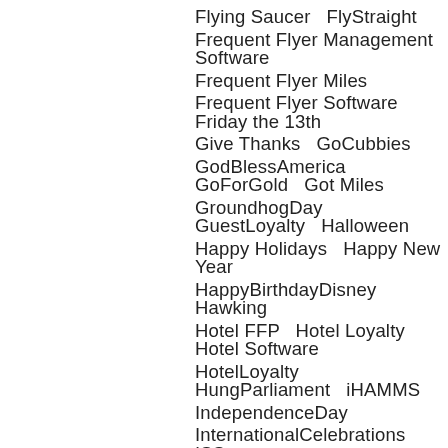Flying Saucer   FlyStraight
Frequent Flyer Management Software
Frequent Flyer Miles
Frequent Flyer Software   Friday the 13th
Give Thanks   GoCubbies
GodBlessAmerica   GoForGold   Got Miles
GroundhogDay   GuestLoyalty   Halloween
Happy Holidays   Happy New Year
HappyBirthdayDisney   Hawking
Hotel FFP   Hotel Loyalty   Hotel Software
HotelLoyalty   HungParliament   iHAMMS
IndependenceDay
InternationalCelebrations   ISS
Lady Luck   LiftOff   Love   LoyalCustomer